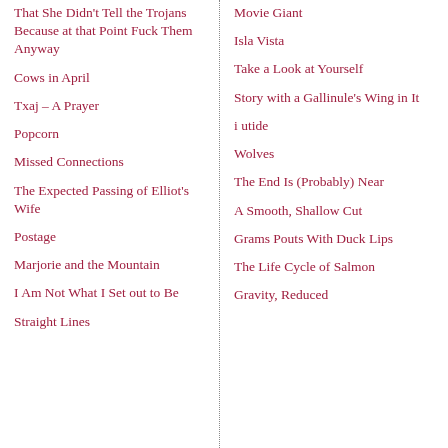That She Didn't Tell the Trojans Because at that Point Fuck Them Anyway
Cows in April
Txaj – A Prayer
Popcorn
Missed Connections
The Expected Passing of Elliot's Wife
Postage
Marjorie and the Mountain
I Am Not What I Set out to Be
Straight Lines
Movie Giant
Isla Vista
Take a Look at Yourself
Story with a Gallinule's Wing in It
i utide
Wolves
The End Is (Probably) Near
A Smooth, Shallow Cut
Grams Pouts With Duck Lips
The Life Cycle of Salmon
Gravity, Reduced